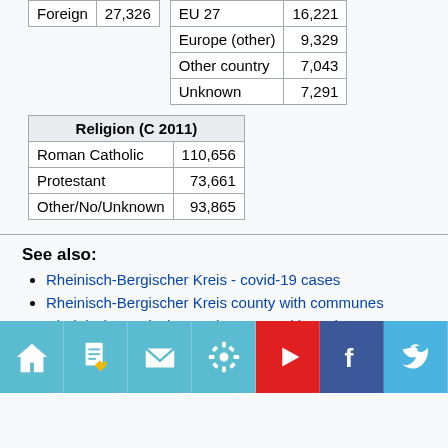| Foreign | 27,326 |
| --- | --- |
| EU 27 | 16,221 |
| --- | --- |
| Europe (other) | 9,329 |
| Other country | 7,043 |
| Unknown | 7,291 |
| Religion (C 2011) |  |
| --- | --- |
| Roman Catholic | 110,656 |
| Protestant | 73,661 |
| Other/No/Unknown | 93,865 |
See also:
Rheinisch-Bergischer Kreis - covid-19 cases
Rheinisch-Bergischer Kreis county with communes
Rheinisch-Bergischer Kreis county with settlements
Located in:
Nordrhein-Westfalen state
[Figure (infographic): Footer toolbar with icons: home, document/checklist, mail envelope, gear/settings, play button (red), Facebook (dark blue), Twitter/social (light blue)]